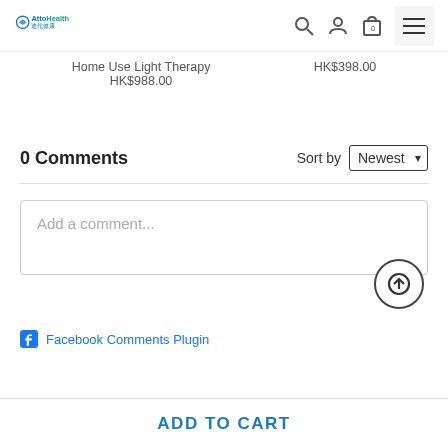AttoHealth logo, search, user, cart, menu icons
Home Use Light Therapy
HK$988.00
HK$398.00
0 Comments
Sort by Newest
Add a comment...
Facebook Comments Plugin
ADD TO CART